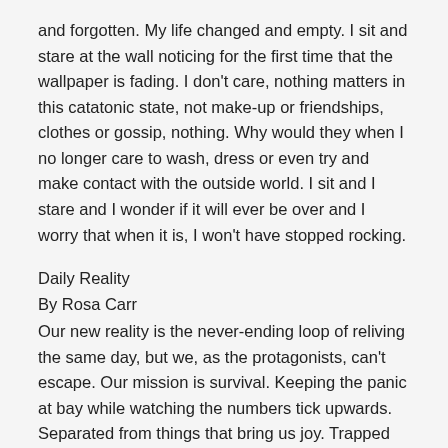and forgotten. My life changed and empty. I sit and stare at the wall noticing for the first time that the wallpaper is fading. I don't care, nothing matters in this catatonic state, not make-up or friendships, clothes or gossip, nothing. Why would they when I no longer care to wash, dress or even try and make contact with the outside world. I sit and I stare and I wonder if it will ever be over and I worry that when it is, I won't have stopped rocking.
Daily Reality
By Rosa Carr
Our new reality is the never-ending loop of reliving the same day, but we, as the protagonists, can't escape. Our mission is survival. Keeping the panic at bay while watching the numbers tick upwards. Separated from things that bring us joy. Trapped inside with people we wouldn't want to spend 24/7 with. Some are finding new passions. Relationship are tested, but new ways of communication and social